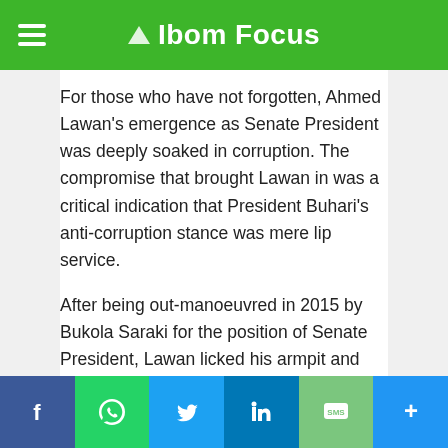Ibom Focus
For those who have not forgotten, Ahmed Lawan's emergence as Senate President was deeply soaked in corruption. The compromise that brought Lawan in was a critical indication that President Buhari's anti-corruption stance was mere lip service.
After being out-manoeuvred in 2015 by Bukola Saraki for the position of Senate President, Lawan licked his armpit and went back to the backbench. When APC's victory in 2019 presented another chance for the North East to produce the senate president, Mr Lawan was again a candidate. As a candidate, he faced an inevitable defeat from Senator Danjuma Goje of Gombe State. In a compromise, at the insistence of Muhammadu Buhari struck with Goje in Aso Rock on Thursday, June 6,